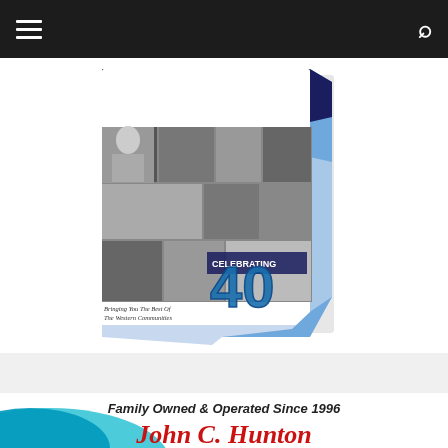[Figure (screenshot): Website navigation bar with dark background, hamburger menu icon on left and search icon on right]
[Figure (illustration): Book or magazine cover celebrating 40 years, titled 'Bringing You The Best Of The Western Communities For More Than Forty Years', with collage of black and white photos, dark navy and light blue design elements, and a large stylized '40' in blue]
[Figure (illustration): Partial banner image reading 'Family Owned & Operated Since 1996' with red cursive script text 'John C. Hunton' on blue/teal background]